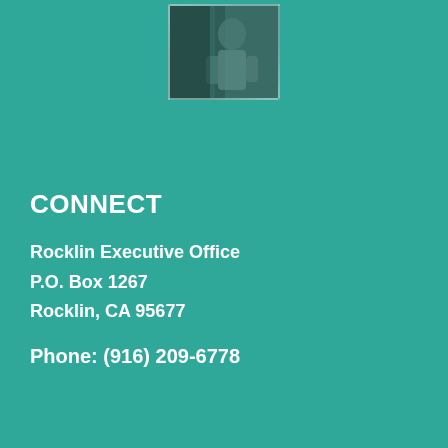[Figure (photo): A small photograph of a person, partially visible, shown against the teal background at the top center of the page.]
CONNECT
Rocklin Executive Office
P.O. Box 1267
Rocklin, CA 95677
Phone: (916) 209-6778